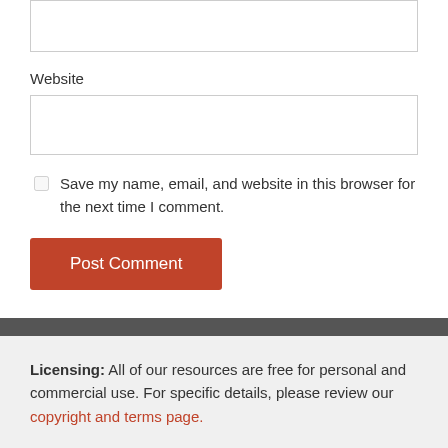Website
Save my name, email, and website in this browser for the next time I comment.
Post Comment
Licensing: All of our resources are free for personal and commercial use. For specific details, please review our copyright and terms page.
Need custom work?
Media Militia is a project funded by Activator Studios. We create unique and obsessively crafted designs.